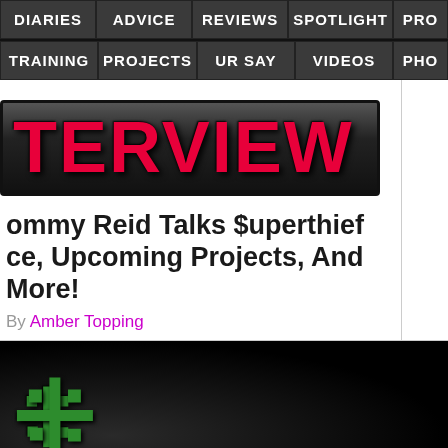DIARIES | ADVICE | REVIEWS | SPOTLIGHT | PRO... | TRAINING | PROJECTS | UR SAY | VIDEOS | PHO...
[Figure (logo): TERVIEW banner logo in red bold text on dark gradient background]
ommy Reid Talks $uperthief
ce, Upcoming Projects, And More!
By Amber Topping
[Figure (photo): Dark photo showing green stylized letter or logo at bottom left]